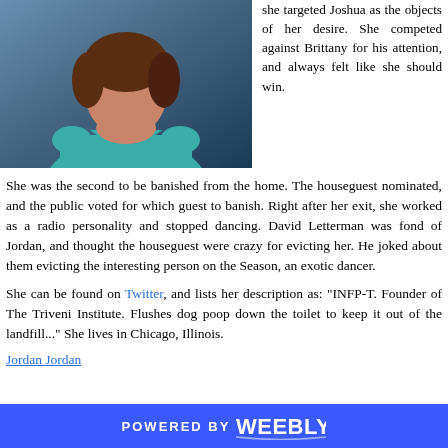[Figure (photo): Portrait photo of a woman with dark hair wearing a teal/turquoise tank top, photographed against a dark blue background.]
she targeted Joshua as the objects of her desire. She competed against Brittany for his attention, and always felt like she should win.
She was the second to be banished from the home. The houseguest nominated, and the public voted for which guest to banish. Right after her exit, she worked as a radio personality and stopped dancing. David Letterman was fond of Jordan, and thought the houseguest were crazy for evicting her. He joked about them evicting the interesting person on the Season, an exotic dancer.
She can be found on Twitter, and lists her description as: "INFP-T. Founder of The Triveni Institute. Flushes dog poop down the toilet to keep it out of the landfill..." She lives in Chicago, Illinois.
[partial link text visible]
POWERED BY weebly